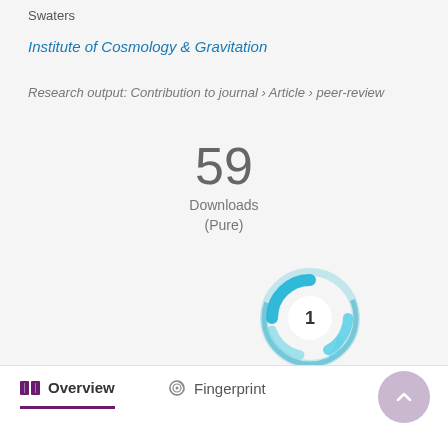Swaters
Institute of Cosmology & Gravitation
Research output: Contribution to journal › Article › peer-review
59
Downloads
(Pure)
[Figure (other): Altmetric donut badge showing citation count of 1, with blue swirling ring design on a white circular center]
Overview
Fingerprint